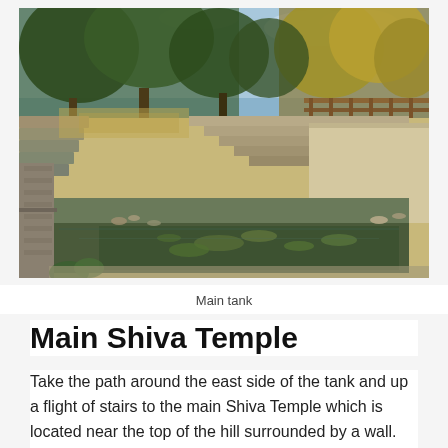[Figure (photo): Photograph of the main tank at a temple site. The tank is a large rectangular stone-lined reservoir, mostly dry with some green algae-covered water remaining at the far end. Stone steps lead down from multiple sides. Dry grass, trees with sparse foliage, and a wooden fence are visible in the background under a partly cloudy blue sky. A stone walkway runs along the left side.]
Main tank
Main Shiva Temple
Take the path around the east side of the tank and up a flight of stairs to the main Shiva Temple which is located near the top of the hill surrounded by a wall. The main temple does in